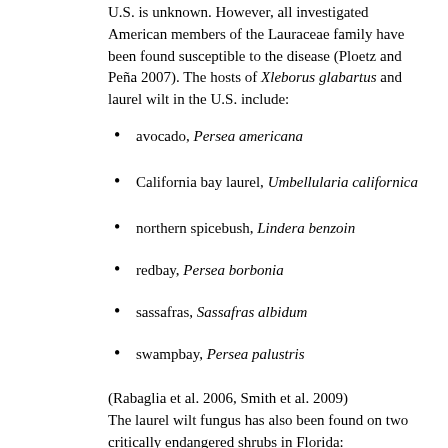U.S. is unknown. However, all investigated American members of the Lauraceae family have been found susceptible to the disease (Ploetz and Peña 2007). The hosts of Xleborus glabartus and laurel wilt in the U.S. include:
avocado, Persea americana
California bay laurel, Umbellularia californica
northern spicebush, Lindera benzoin
redbay, Persea borbonia
sassafras, Sassafras albidum
swampbay, Persea palustris
(Rabaglia et al. 2006, Smith et al. 2009)
The laurel wilt fungus has also been found on two critically endangered shrubs in Florida:
pondberry, Lindera melissifolia
pondspice, Litsea aestivalis